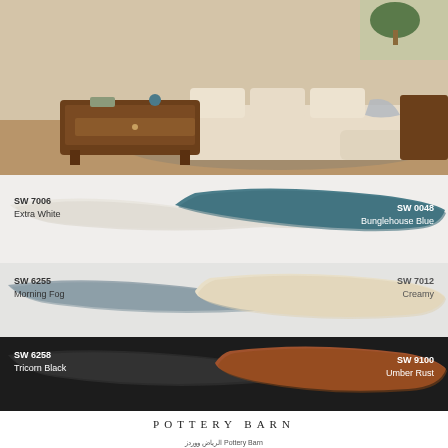[Figure (photo): Living room scene with beige sectional sofa, dark wood coffee table, and side table on a jute rug]
[Figure (infographic): Paint color swatches for SW 7006 Extra White and SW 0048 Bunglehouse Blue]
SW 7006
Extra White
SW 0048
Bunglehouse Blue
[Figure (infographic): Paint color swatches for SW 6255 Morning Fog and SW 7012 Creamy]
SW 6255
Morning Fog
SW 7012
Creamy
[Figure (infographic): Paint color swatches for SW 6258 Tricorn Black and SW 9100 Umber Rust]
SW 6258
Tricorn Black
SW 9100
Umber Rust
POTTERY BARN
الرياض ووردز Pottery Barn